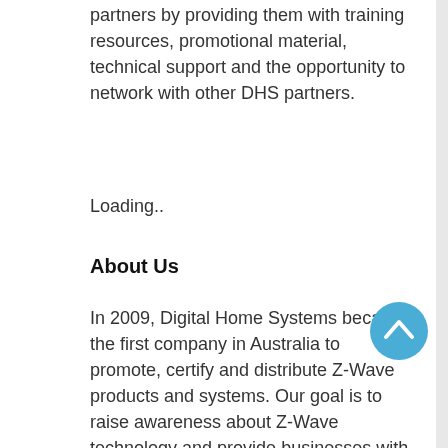partners by providing them with training resources, promotional material, technical support and the opportunity to network with other DHS partners.
Loading..
About Us
In 2009, Digital Home Systems became the first company in Australia to promote, certify and distribute Z-Wave products and systems. Our goal is to raise awareness about Z-Wave technology and provide businesses with the resources they need to install, sell and promote Z-Wave products and services for the consumer market.
As of 2018, we're partnered with over 500 companies in Australia and New Zealand. Our partners are involved in many different aspects of the promotion, development